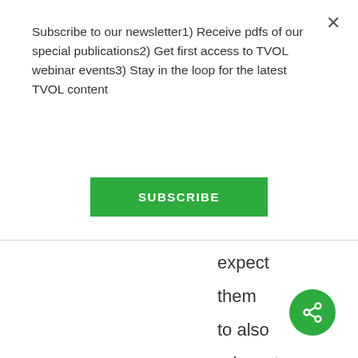Subscribe to our newsletter1) Receive pdfs of our special publications2) Get first access to TVOL webinar events3) Stay in the loop for the latest TVOL content
SUBSCRIBE
expect them to also advocate for the scientific truth about